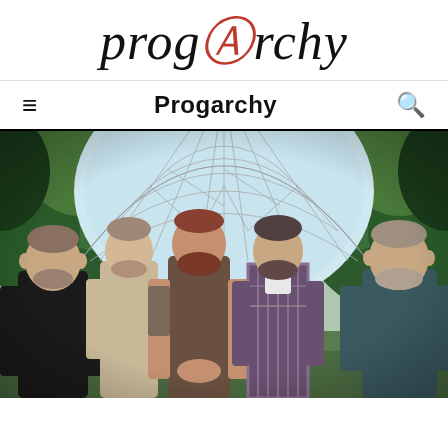progarchy
Progarchy
[Figure (photo): Five men standing in front of a geodesic dome greenhouse with tropical plants. The men are dressed casually; one in a black t-shirt on the left, one in a beige/khaki shirt, one in a sleeveless brown top in the center, one in a plaid shirt, and one in a dark teal shirt on the right.]